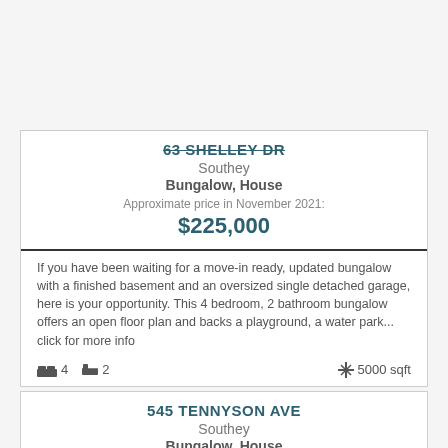63 SHELLEY DR
Southey
Bungalow, House
Approximate price in November 2021:
$225,000
If you have been waiting for a move-in ready, updated bungalow with a finished basement and an oversized single detached garage, here is your opportunity. This 4 bedroom, 2 bathroom bungalow offers an open floor plan and backs a playground, a water park... click for more info
4  2  5000 sqft
545 TENNYSON AVE
Southey
Bungalow, House
Approximate price in April 2021:
$449,900